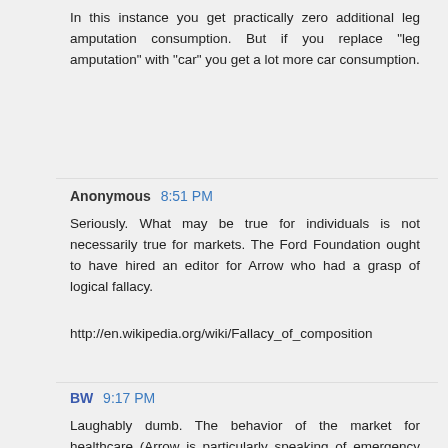In this instance you get practically zero additional leg amputation consumption. But if you replace "leg amputation" with "car" you get a lot more car consumption.
Anonymous 8:51 PM
Seriously. What may be true for individuals is not necessarily true for markets. The Ford Foundation ought to have hired an editor for Arrow who had a grasp of logical fallacy.
http://en.wikipedia.org/wiki/Fallacy_of_composition
BW 9:17 PM
Laughably dumb. The behavior of the market for healthcare (Arrow is particularly speaking of emergency and other urgent care) is a partially a function of the demand for healthcare, which is a